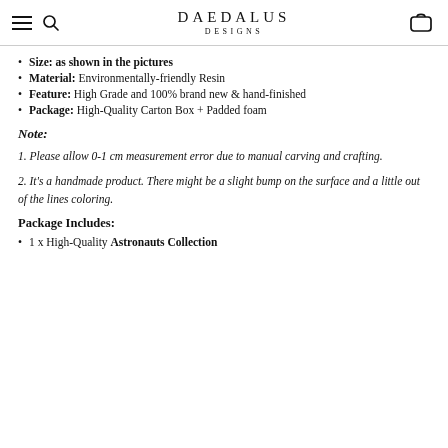DAEDALUS DESIGNS
Size: as shown in the pictures
Material: Environmentally-friendly Resin
Feature: High Grade and 100% brand new & hand-finished
Package: High-Quality Carton Box + Padded foam
Note:
1. Please allow 0-1 cm measurement error due to manual carving and crafting.
2. It's a handmade product. There might be a slight bump on the surface and a little out of the lines coloring.
Package Includes:
1 x High-Quality Astronauts Collection